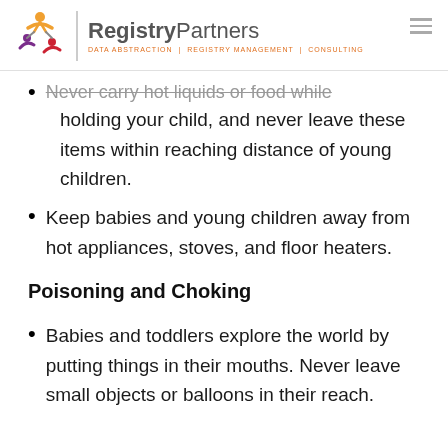RegistryPartners — DATA ABSTRACTION | REGISTRY MANAGEMENT | CONSULTING
Never carry hot liquids or food while holding your child, and never leave these items within reaching distance of young children.
Keep babies and young children away from hot appliances, stoves, and floor heaters.
Poisoning and Choking
Babies and toddlers explore the world by putting things in their mouths. Never leave small objects or balloons in their reach.